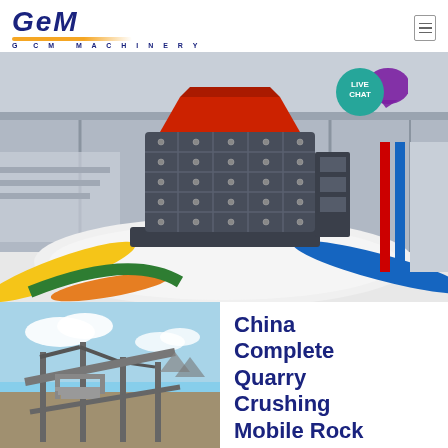[Figure (logo): GCM Machinery logo with stylized GCM text in navy blue italic, gold underline arc, and G C M MACHINERY text below]
[Figure (photo): Large industrial impact crusher/rock crushing machine with dark grey square grid body and red intake hopper, displayed on white gravel with colorful conveyor belts in a warehouse setting]
[Figure (photo): Outdoor quarry crushing plant with metal framework, conveyors, and industrial equipment under a partly cloudy sky]
China Complete Quarry Crushing Mobile Rock